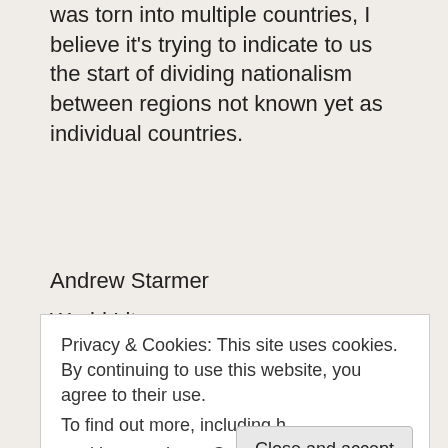was torn into multiple countries, I believe it's trying to indicate to us the start of dividing nationalism between regions not known yet as individual countries.
Andrew Starmer
World Lit
10/1/2020 11:01AM
★ Like
Reply
Privacy & Cookies: This site uses cookies. By continuing to use this website, you agree to their use.
To find out more, including how to control cookies, see here: Cookie Po...
Close and accept
(to Andrews comment under my original